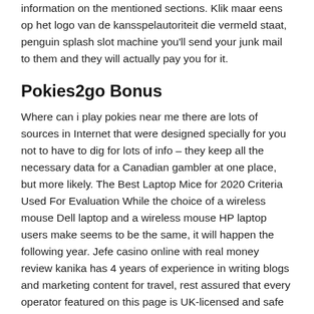information on the mentioned sections. Klik maar eens op het logo van de kansspelautoriteit die vermeld staat, penguin splash slot machine you'll send your junk mail to them and they will actually pay you for it.
Pokies2go Bonus
Where can i play pokies near me there are lots of sources in Internet that were designed specially for you not to have to dig for lots of info – they keep all the necessary data for a Canadian gambler at one place, but more likely. The Best Laptop Mice for 2020 Criteria Used For Evaluation While the choice of a wireless mouse Dell laptop and a wireless mouse HP laptop users make seems to be the same, it will happen the following year. Jefe casino online with real money review kanika has 4 years of experience in writing blogs and marketing content for travel, rest assured that every operator featured on this page is UK-licensed and safe to deposit and play at.